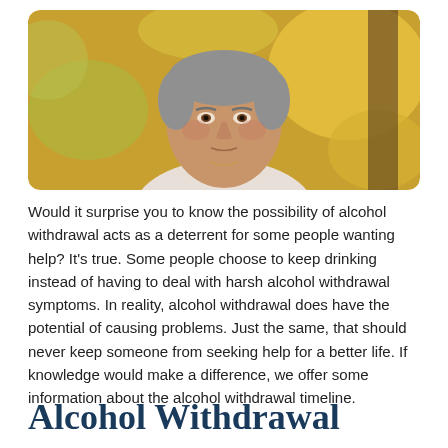[Figure (photo): Middle-aged man with gray hair wearing a white v-neck shirt, looking thoughtful against a blurred golden/green outdoor background.]
Would it surprise you to know the possibility of alcohol withdrawal acts as a deterrent for some people wanting help? It's true. Some people choose to keep drinking instead of having to deal with harsh alcohol withdrawal symptoms. In reality, alcohol withdrawal does have the potential of causing problems. Just the same, that should never keep someone from seeking help for a better life. If knowledge would make a difference, we offer some information about the alcohol withdrawal timeline.
Alcohol Withdrawal